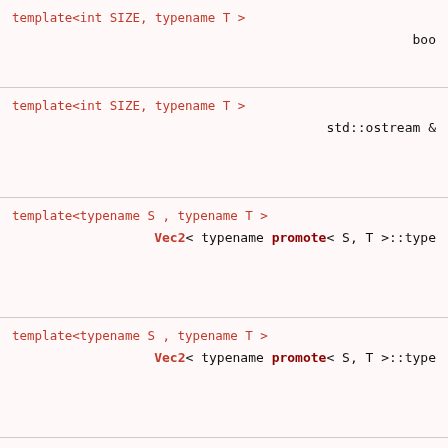template<int SIZE, typename T >
boo
template<int SIZE, typename T >
std::ostream &
template<typename S , typename T >
Vec2< typename promote< S, T >::type
template<typename S , typename T >
Vec2< typename promote< S, T >::type
template<typename T0 , typename T1 >
Vec2< typename promote< T0, T1 >::type